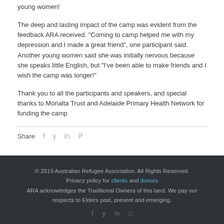young women!
The deep and lasting impact of the camp was evident from the feedback ARA received. "Coming to camp helped me with my depression and I made a great friend", one participant said. Another young women said she was initially nervous because she speaks little English, but "I've been able to make friends and I wish the camp was longer!"
Thank you to all the participants and speakers, and special thanks to Morialta Trust and Adelaide Primary Health Network for funding the camp
Share  f  y  in  p
© 2019 Australian Refugee Association. All Rights Reserved. Privacy policy for clients and donors ARA acknowledges the Traditional Owners of this land. We pay our respects to Elders past, present and emerging.